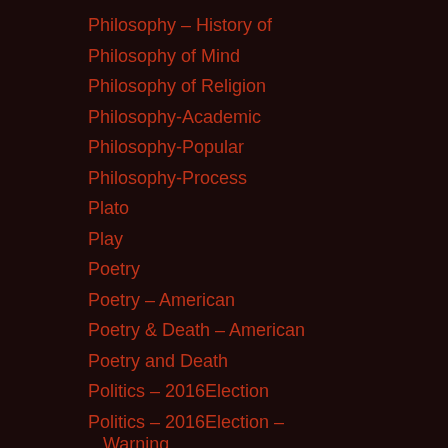Philosophy – History of
Philosophy of Mind
Philosophy of Religion
Philosophy-Academic
Philosophy-Popular
Philosophy-Process
Plato
Play
Poetry
Poetry – American
Poetry & Death – American
Poetry and Death
Politics – 2016Election
Politics – 2016Election – Warning